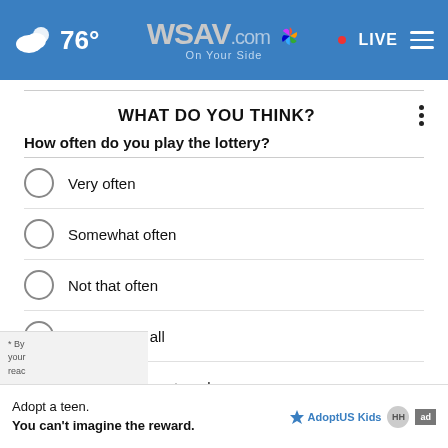WSAV.com On Your Side | 76° | LIVE
WHAT DO YOU THINK?
How often do you play the lottery?
Very often
Somewhat often
Not that often
Not often at all
Other / Does not apply
NEXT *
* By your...reac...
Adopt a teen. You can't imagine the reward.